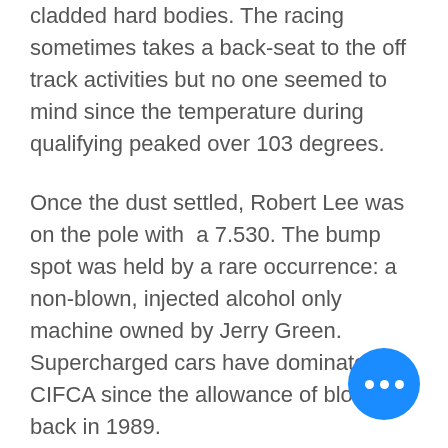cladded hard bodies. The racing sometimes takes a back-seat to the off track activities but no one seemed to mind since the temperature during qualifying peaked over 103 degrees.
Once the dust settled, Robert Lee was on the pole with a 7.530. The bump spot was held by a rare occurrence: a non-blown, injected alcohol only machine owned by Jerry Green. Supercharged cars have dominated in CIFCA since the allowance of blowers back in 1989.
Eliminations were very intense with most winning runs within a tenth of the 7.50 index. Mike Hilsabeck, points leader going into this event muscled his way into the final...